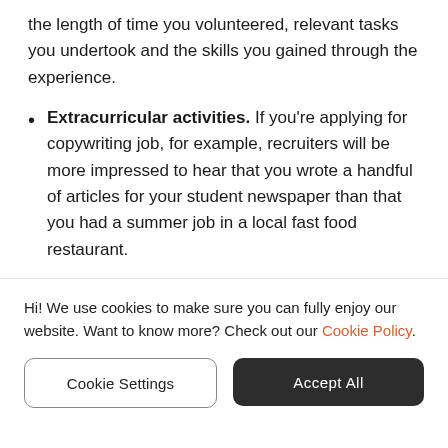the length of time you volunteered, relevant tasks you undertook and the skills you gained through the experience.
Extracurricular activities. If you're applying for copywriting job, for example, recruiters will be more impressed to hear that you wrote a handful of articles for your student newspaper than that you had a summer job in a local fast food restaurant.
How to list work experience if you're an experienced professional?
Hi! We use cookies to make sure you can fully enjoy our website. Want to know more? Check out our Cookie Policy.